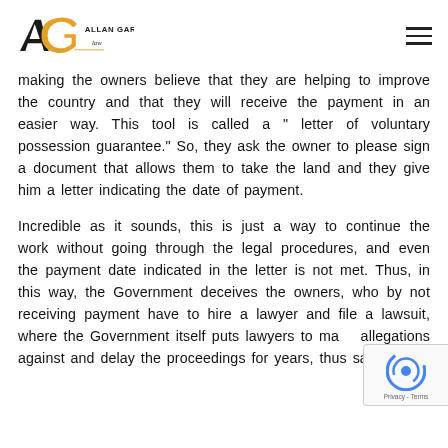Allan Garro Law
making the owners believe that they are helping to improve the country and that they will receive the payment in an easier way. This tool is called a “ letter of voluntary possession guarantee.” So, they ask the owner to please sign a document that allows them to take the land and they give him a letter indicating the date of payment.
Incredible as it sounds, this is just a way to continue the work without going through the legal procedures, and even the payment date indicated in the letter is not met. Thus, in this way, the Government deceives the owners, who by not receiving payment have to hire a lawyer and file a lawsuit, where the Government itself puts lawyers to make allegations against and delay the proceedings for years, thus saving the